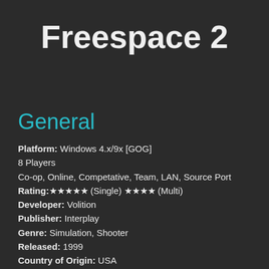Freespace 2
General
Platform: Windows 4.x/9x [GOG]
8 Players
Co-op, Online, Competative, Team, LAN, Source Port
Rating:★★★★★ (Single) ★★★★ (Multi)
Developer: Volition
Publisher: Interplay
Genre: Simulation, Shooter
Released: 1999
Country of Origin: USA
The year is 2367, thirty two years after the Great War. Or at least what YOU thought was the Great War. The seemingly endless tide of Shivan capital ships